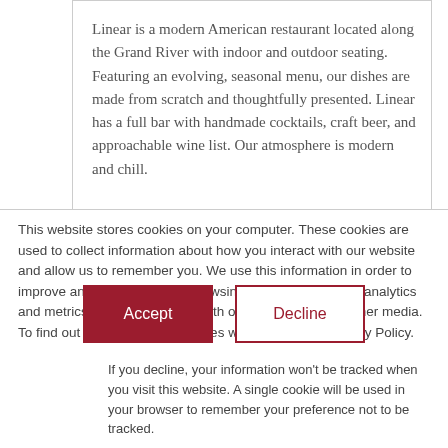Linear is a modern American restaurant located along the Grand River with indoor and outdoor seating. Featuring an evolving, seasonal menu, our dishes are made from scratch and thoughtfully presented. Linear has a full bar with handmade cocktails, craft beer, and approachable wine list. Our atmosphere is modern and chill.
This website stores cookies on your computer. These cookies are used to collect information about how you interact with our website and allow us to remember you. We use this information in order to improve and customize your browsing experience and for analytics and metrics about our visitors both on this website and other media. To find out more about the cookies we use, see our Privacy Policy.
If you decline, your information won't be tracked when you visit this website. A single cookie will be used in your browser to remember your preference not to be tracked.
Accept
Decline